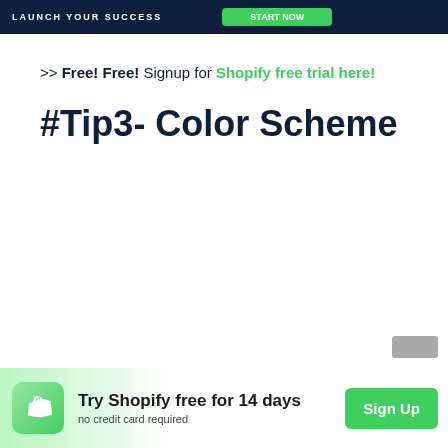LAUNCH YOUR SUCCESS
>> Free! Free! Signup for Shopify free trial here!
#Tip3- Color Scheme
Try Shopify free for 14 days
no credit card required
Sign Up